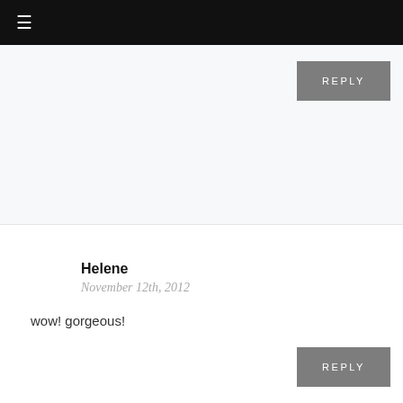≡
REPLY
Helene
November 12th, 2012
wow! gorgeous!
REPLY